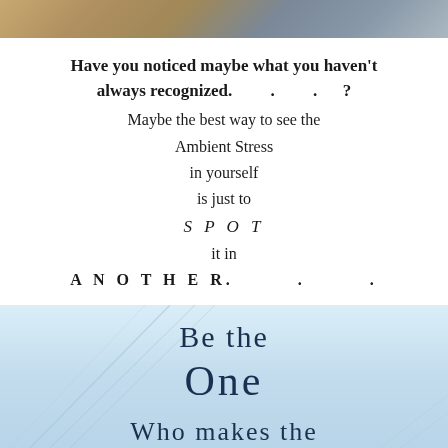[Figure (photo): Top strip image showing an outdoor/nature scene with warm earthy tones transitioning to cooler blue-grey tones]
Have you noticed maybe what you haven't always recognized.          .          .          ?
Maybe the best way to see the
Ambient Stress
in yourself
is just to
S P O T
it in
A N O T H E R.          .          .
[Figure (photo): Bottom image showing a light blue atmospheric scene, possibly buildings or sky with diagonal architectural lines, with text overlay reading 'BE THE ONE WHO MAKES THE']